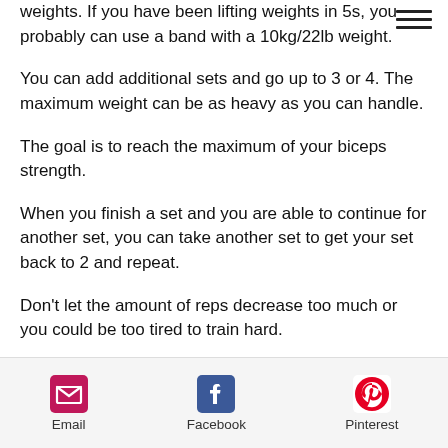weights. If you have been lifting weights in 5s, you probably can use a band with a 10kg/22lb weight.
You can add additional sets and go up to 3 or 4. The maximum weight can be as heavy as you can handle.
The goal is to reach the maximum of your biceps strength.
When you finish a set and you are able to continue for another set, you can take another set to get your set back to 2 and repeat.
Don't let the amount of reps decrease too much or you could be too tired to train hard.
[Figure (infographic): Share bar with Email, Facebook, and Pinterest icons at the bottom of the page]